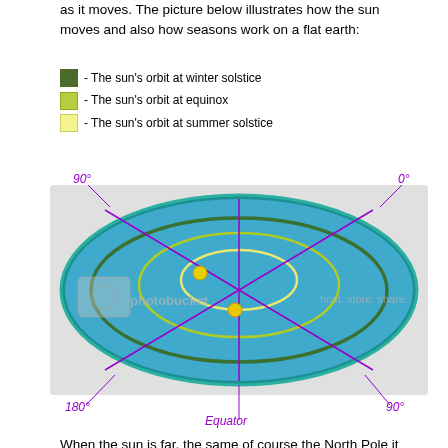as it moves. The picture below illustrates how the sun moves and also how seasons work on a flat earth:
- The sun's orbit at winter solstice
- The sun's orbit at equinox
- The sun's orbit at summer solstice
[Figure (illustration): Flat earth diagram showing three elliptical orbits of the sun (winter solstice - dark green outer, equinox - yellow-green middle, summer solstice - pale yellow inner) on a blue disc-shaped flat earth. Compass directions labeled: 90° top-left, 0° top-right, 180° bottom-left, 90° bottom-right, and Equator at bottom center. Two yellow dots mark the sun position. Purple/magenta lines indicate compass bearings. Photobucket watermark visible.]
When the sun is far, the same of course the North Pole it